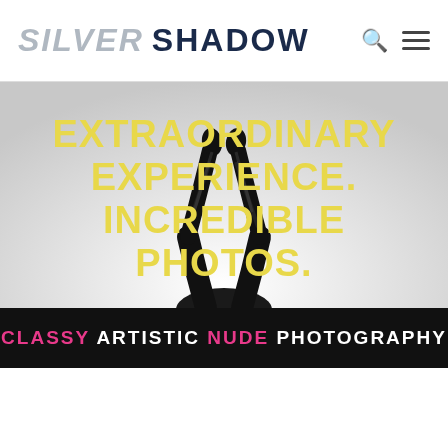SILVER SHADOW
[Figure (photo): Black and white silhouette photo of a figure lying on back with legs raised upward, shot against a white background. Overlaid with large yellow bold text reading EXTRAORDINARY EXPERIENCE. INCREDIBLE PHOTOS. and a review line: Lindsay ★★★★★]
Lindsay ★★★★★
CLASSY ARTISTIC NUDE PHOTOGRAPHY